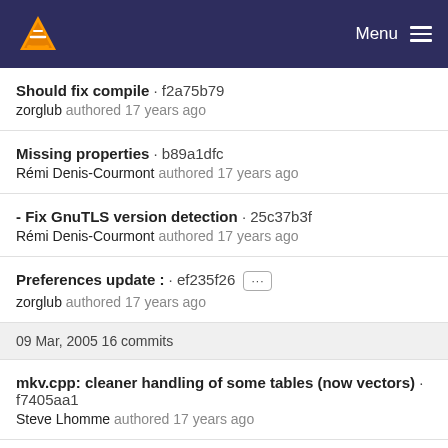Menu
Should fix compile · f2a75b79
zorglub authored 17 years ago
Missing properties · b89a1dfc
Rémi Denis-Courmont authored 17 years ago
- Fix GnuTLS version detection · 25c37b3f
Rémi Denis-Courmont authored 17 years ago
Preferences update : · ef235f26 [...]
zorglub authored 17 years ago
09 Mar, 2005 16 commits
mkv.cpp: cleaner handling of some tables (now vectors) · f7405aa1
Steve Lhomme authored 17 years ago
Preferences icons · 5d65af63